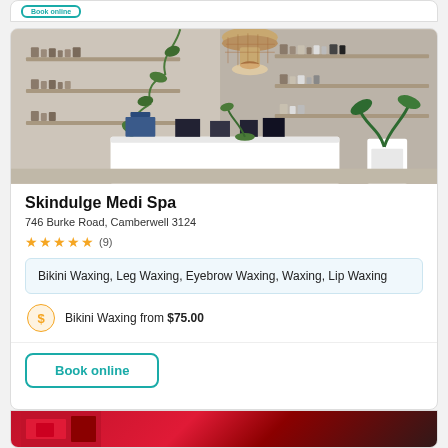[Figure (photo): Interior photo of Skindulge Medi Spa showing shelves with products, hanging wicker lampshades, plants, and a white reception/treatment desk]
Skindulge Medi Spa
746 Burke Road, Camberwell 3124
★★★★★ (9)
Bikini Waxing, Leg Waxing, Eyebrow Waxing, Waxing, Lip Waxing
Bikini Waxing from $75.00
Book online